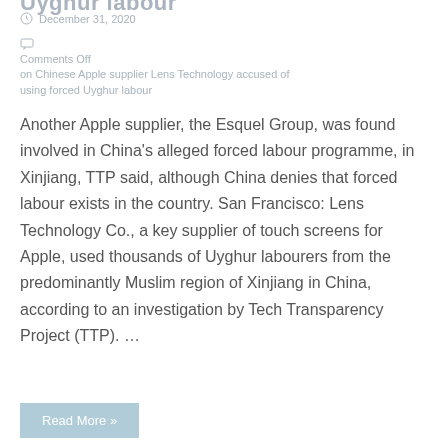Uyghur labour
December 31, 2020
Comments Off on Chinese Apple supplier Lens Technology accused of using forced Uyghur labour
Another Apple supplier, the Esquel Group, was found involved in China's alleged forced labour programme, in Xinjiang, TTP said, although China denies that forced labour exists in the country. San Francisco: Lens Technology Co., a key supplier of touch screens for Apple, used thousands of Uyghur labourers from the predominantly Muslim region of Xinjiang in China, according to an investigation by Tech Transparency Project (TTP). …
Read More »